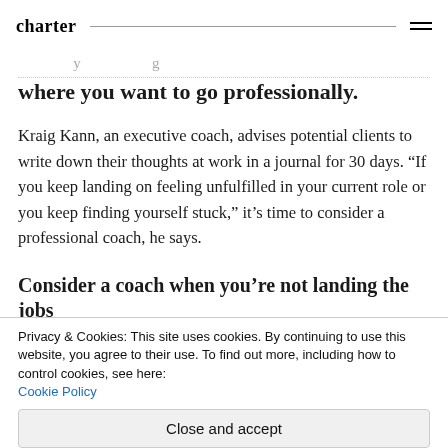charter
where you want to go professionally.
Kraig Kann, an executive coach, advises potential clients to write down their thoughts at work in a journal for 30 days. “If you keep landing on feeling unfulfilled in your current role or you keep finding yourself stuck,” it’s time to consider a professional coach, he says.
Consider a coach when you’re not landing the jobs you want
Privacy & Cookies: This site uses cookies. By continuing to use this website, you agree to their use. To find out more, including how to control cookies, see here: Cookie Policy
Close and accept